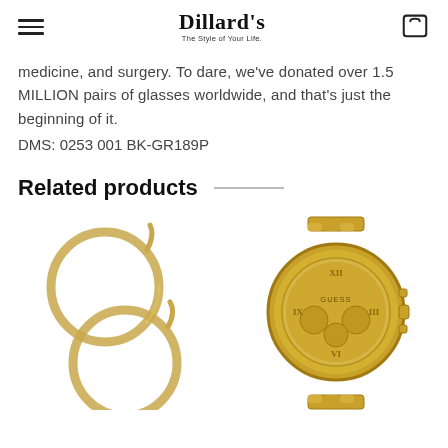Dillard's — The Style of Your Life.
medicine, and surgery. To date, we've donated over 1.5 MILLION pairs of glasses worldwide, and that's just the beginning of it.
DMS: 0253 001 BK-GR189P
Related products
[Figure (photo): Gold hoop earrings — two gold-toned hoop earrings shown at an angle against a white background]
[Figure (photo): Gold-tone Guess chronograph watch with gold bracelet and champagne dial showing Roman numerals]